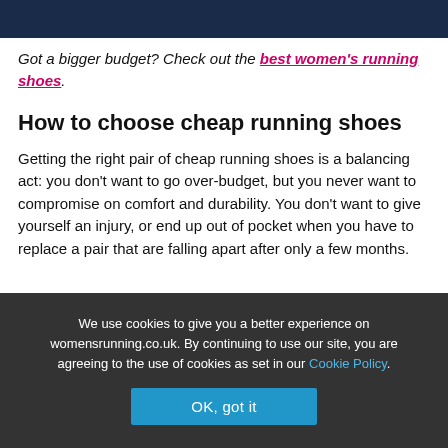[Running site header bar]
Got a bigger budget? Check out the best women's running shoes.
How to choose cheap running shoes
Getting the right pair of cheap running shoes is a balancing act: you don't want to go over-budget, but you never want to compromise on comfort and durability. You don't want to give yourself an injury, or end up out of pocket when you have to replace a pair that are falling apart after only a few months.
We use cookies to give you a better experience on womensrunning.co.uk. By continuing to use our site, you are agreeing to the use of cookies as set in our Cookie Policy.